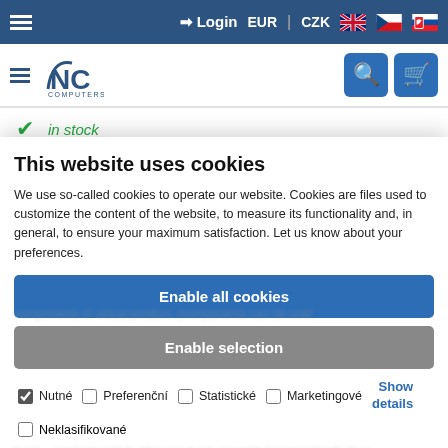Login  EUR | CZK
[Figure (screenshot): NC Computers website logo with hamburger menu, search and cart buttons]
in stock
available in 48 hours
in stock partially
This website uses cookies
We use so-called cookies to operate our website. Cookies are files used to customize the content of the website, to measure its functionality and, in general, to ensure your maximum satisfaction. Let us know about your preferences.
Enable all cookies
Enable selection
Nutné  Preferenční  Statistické  Marketingové  Show details  Neklasifikované